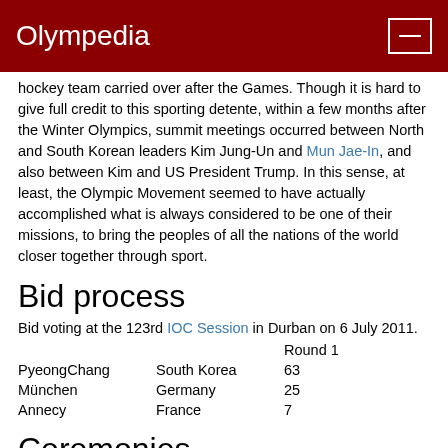Olympedia
hockey team carried over after the Games. Though it is hard to give full credit to this sporting detente, within a few months after the Winter Olympics, summit meetings occurred between North and South Korean leaders Kim Jung-Un and Mun Jae-In, and also between Kim and US President Trump. In this sense, at least, the Olympic Movement seemed to have actually accomplished what is always considered to be one of their missions, to bring the peoples of all the nations of the world closer together through sport.
Bid process
Bid voting at the 123rd IOC Session in Durban on 6 July 2011.
|  |  | Round 1 |
| --- | --- | --- |
| PyeongChang | South Korea | 63 |
| München | Germany | 25 |
| Annecy | France | 7 |
Ceremonies
Officially opened